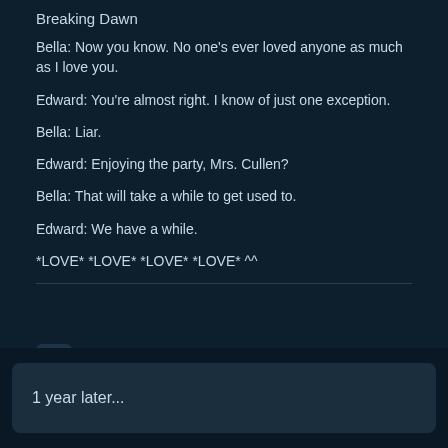Breaking Dawn
Bella: Now you know. No one's ever loved anyone as much as I love you.
Edward: You're almost right. I know of just one exception.
Bella: Liar.
Edward: Enjoying the party, Mrs. Cullen?
Bella: That will take a while to get used to.
Edward: We have a while.
*LOVE* *LOVE* *LOVE* *LOVE* ^^
+ Quote
1 year later...